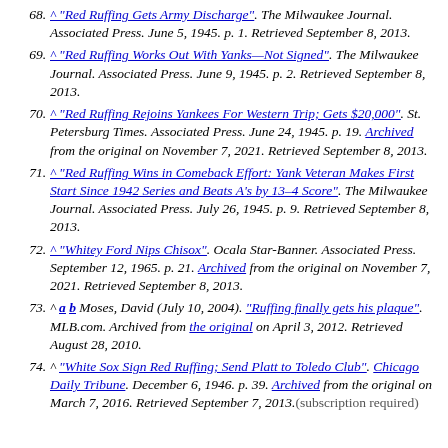68. ^ "Red Ruffing Gets Army Discharge". The Milwaukee Journal. Associated Press. June 5, 1945. p. 1. Retrieved September 8, 2013.
69. ^ "Red Ruffing Works Out With Yanks—Not Signed". The Milwaukee Journal. Associated Press. June 9, 1945. p. 2. Retrieved September 8, 2013.
70. ^ "Red Ruffing Rejoins Yankees For Western Trip; Gets $20,000". St. Petersburg Times. Associated Press. June 24, 1945. p. 19. Archived from the original on November 7, 2021. Retrieved September 8, 2013.
71. ^ "Red Ruffing Wins in Comeback Effort: Yank Veteran Makes First Start Since 1942 Series and Beats A's by 13–4 Score". The Milwaukee Journal. Associated Press. July 26, 1945. p. 9. Retrieved September 8, 2013.
72. ^ "Whitey Ford Nips Chisox". Ocala Star-Banner. Associated Press. September 12, 1965. p. 21. Archived from the original on November 7, 2021. Retrieved September 8, 2013.
73. ^ a b Moses, David (July 10, 2004). "Ruffing finally gets his plaque". MLB.com. Archived from the original on April 3, 2012. Retrieved August 28, 2010.
74. ^ "White Sox Sign Red Ruffing; Send Platt to Toledo Club". Chicago Daily Tribune. December 6, 1946. p. 39. Archived from the original on March 7, 2016. Retrieved September 7, 2013. (subscription required)